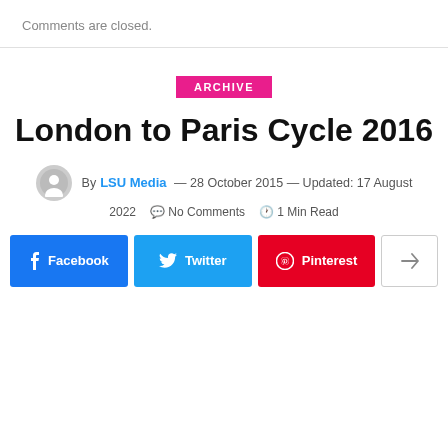Comments are closed.
ARCHIVE
London to Paris Cycle 2016
By LSU Media — 28 October 2015 — Updated: 17 August 2022  No Comments  1 Min Read
Facebook  Twitter  Pinterest